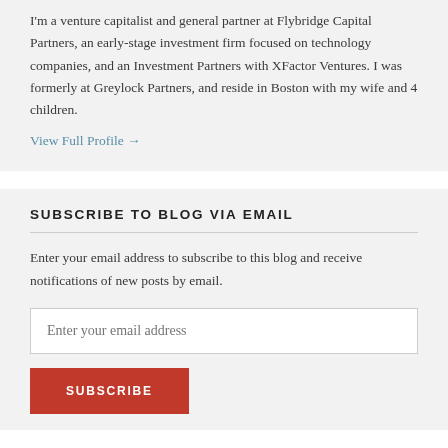I'm a venture capitalist and general partner at Flybridge Capital Partners, an early-stage investment firm focused on technology companies, and an Investment Partners with XFactor Ventures. I was formerly at Greylock Partners, and reside in Boston with my wife and 4 children.
View Full Profile →
SUBSCRIBE TO BLOG VIA EMAIL
Enter your email address to subscribe to this blog and receive notifications of new posts by email.